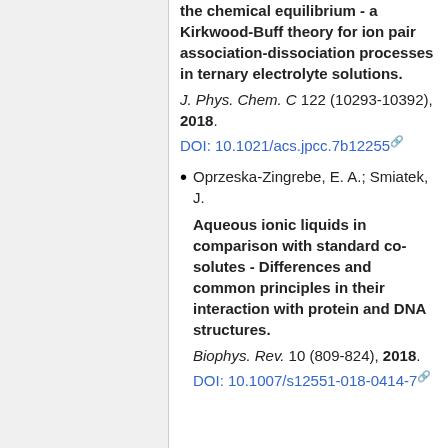the chemical equilibrium - a Kirkwood-Buff theory for ion pair association-dissociation processes in ternary electrolyte solutions. J. Phys. Chem. C 122 (10293-10392), 2018. DOI: 10.1021/acs.jpcc.7b12255
Oprzeska-Zingrebe, E. A.; Smiatek, J. Aqueous ionic liquids in comparison with standard co-solutes - Differences and common principles in their interaction with protein and DNA structures. Biophys. Rev. 10 (809-824), 2018. DOI: 10.1007/s12551-018-0414-7